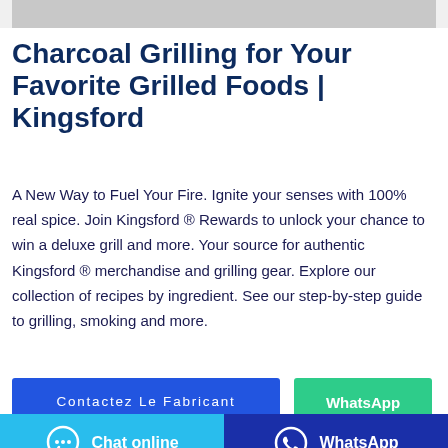[Figure (photo): Partial image visible at top of page, gray/blurred]
Charcoal Grilling for Your Favorite Grilled Foods | Kingsford
A New Way to Fuel Your Fire. Ignite your senses with 100% real spice. Join Kingsford ® Rewards to unlock your chance to win a deluxe grill and more. Your source for authentic Kingsford ® merchandise and grilling gear. Explore our collection of recipes by ingredient. See our step-by-step guide to grilling, smoking and more.
Contactez Le Fabricant
WhatsApp
Chat online
WhatsApp